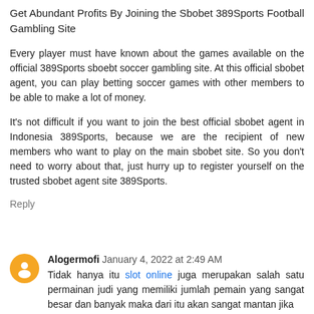Get Abundant Profits By Joining the Sbobet 389Sports Football Gambling Site
Every player must have known about the games available on the official 389Sports sboebt soccer gambling site. At this official sbobet agent, you can play betting soccer games with other members to be able to make a lot of money.
It's not difficult if you want to join the best official sbobet agent in Indonesia 389Sports, because we are the recipient of new members who want to play on the main sbobet site. So you don't need to worry about that, just hurry up to register yourself on the trusted sbobet agent site 389Sports.
Reply
Alogermofi January 4, 2022 at 2:49 AM
Tidak hanya itu slot online juga merupakan salah satu permainan judi yang memiliki jumlah pemain yang sangat besar dan banyak maka dari itu akan sangat mantan jika